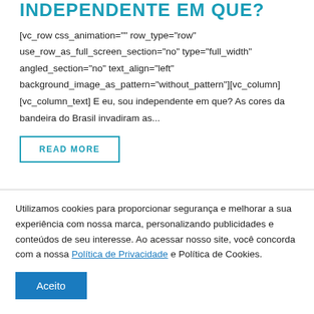INDEPENDENTE EM QUE?
[vc_row css_animation="" row_type="row" use_row_as_full_screen_section="no" type="full_width" angled_section="no" text_align="left" background_image_as_pattern="without_pattern"][vc_column] [vc_column_text] E eu, sou independente em que? As cores da bandeira do Brasil invadiram as...
READ MORE
Utilizamos cookies para proporcionar segurança e melhorar a sua experiência com nossa marca, personalizando publicidades e conteúdos de seu interesse. Ao acessar nosso site, você concorda com a nossa Política de Privacidade e Política de Cookies.
Aceito